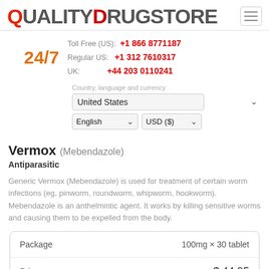[Figure (logo): QualityDrugstore logo with hamburger menu icon]
24/7  Toll Free (US):  +1 866 8771187  Regular US:  +1 312 7610317  UK:  +44 203 0110241
Country, language and currency  United States  English  USD ($)
Vermox (Mebendazole)
Antiparasitic
Generic Vermox (Mebendazole) is used for treatment of certain worm infections (eg, pinworm, roundworm, whipworm, hookworm). Mebendazole is an anthelmintic agent. It works by killing sensitive worms and causing them to be expelled from the body.
| Package | 100mg × 30 tablet |
| --- | --- |
| Price | $ 44.95 |